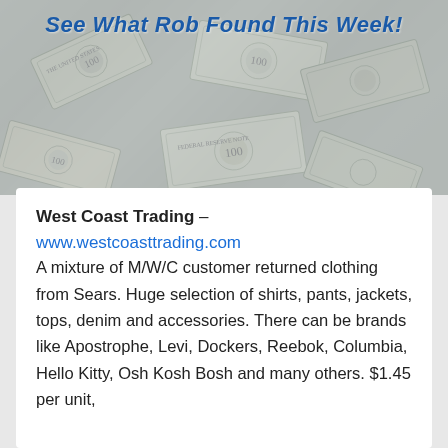[Figure (illustration): Banner image with scattered US dollar bills (100 dollar bills) in grayscale/blue-tinted background, with bold italic blue text overlay reading 'See What Rob Found This Week!']
West Coast Trading –
www.westcoasttrading.com
A mixture of M/W/C customer returned clothing from Sears. Huge selection of shirts, pants, jackets, tops, denim and accessories. There can be brands like Apostrophe, Levi, Dockers, Reebok, Columbia, Hello Kitty, Osh Kosh Bosh and many others. $1.45 per unit,